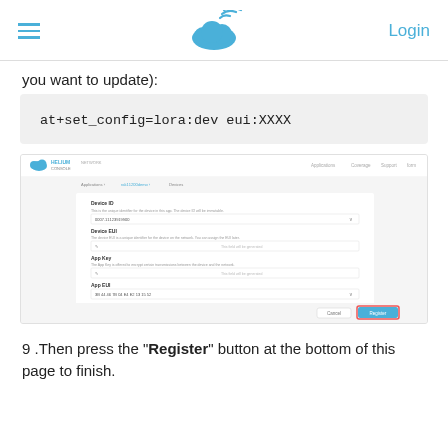Login
you want to update):
at+set_config=lora:dev eui:XXXX
[Figure (screenshot): Screenshot of a device registration console form showing fields for Device ID, Device EUI, App Key, App EUI with a Register button highlighted in teal at the bottom right.]
9 .Then press the "Register" button at the bottom of this page to finish.